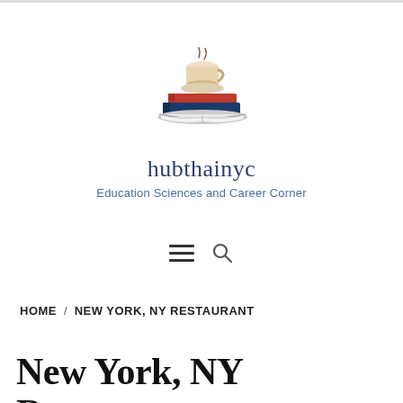[Figure (logo): Stack of books with a steaming coffee cup on top, serving as the hubthainyc website logo]
hubthainyc
Education Sciences and Career Corner
[Figure (other): Hamburger menu icon and search icon navigation controls]
HOME  /  NEW YORK, NY RESTAURANT
New York, NY Restaurant